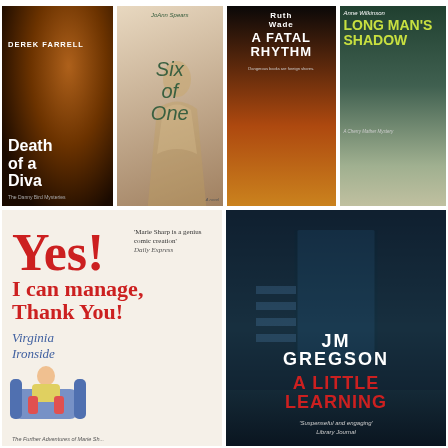[Figure (photo): Book cover: 'Death of a Diva' by Derek Farrell. Dark background with warm bokeh lights, white bold title text.]
[Figure (photo): Book cover: 'Six of One' by JoAnn Spears. Features a woman in Renaissance dress, italic green title text on aged background.]
[Figure (photo): Book cover: 'A Fatal Rhythm' by Ruth Wade. Coastal sunset scene, bold white title text.]
[Figure (photo): Book cover: 'Long Man's Shadow' by Anne Wilkinson. Quaint village street with ivy-covered cottages, yellow-green bold title text.]
[Figure (photo): Book cover: 'Yes! I can manage, Thank You!' by Virginia Ironside. Cream background with large red title text, quote from Daily Express praising Marie Sharp character.]
[Figure (photo): Book cover: 'A Little Learning' by JM Gregson. Dark moody staircase interior, large white author name, red title text, quote from Library Journal.]